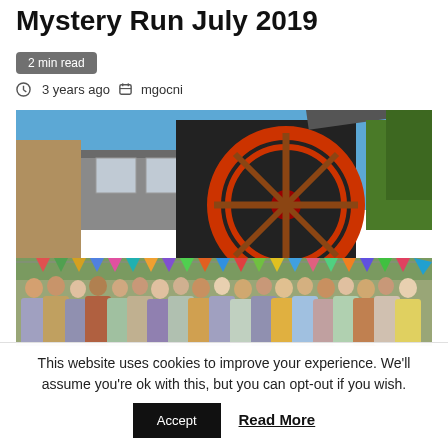Mystery Run July 2019
2 min read
3 years ago   mgocni
[Figure (photo): Group of people standing in front of a large red waterwheel at an old stone mill building, with colorful bunting flags strung across the scene on a sunny day.]
This website uses cookies to improve your experience. We’ll assume you’re ok with this, but you can opt-out if you wish.
Accept   Read More